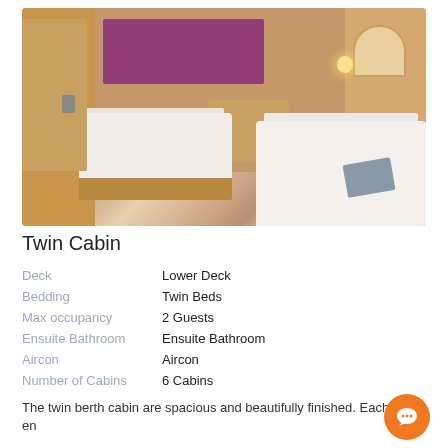[Figure (photo): Interior of a twin cabin on a ship showing two single beds with white bedding, wood-paneled walls, purple curtains, a mirror with vanity area, and wall lighting.]
Twin Cabin
| Deck | Lower Deck |
| Bedding | Twin Beds |
| Max occupancy | 2 Guests |
| Ensuite Bathroom | Ensuite Bathroom |
| Aircon | Aircon |
| Number of Cabins | 6 Cabins |
The twin berth cabin are spacious and beautifully finished. Each has en